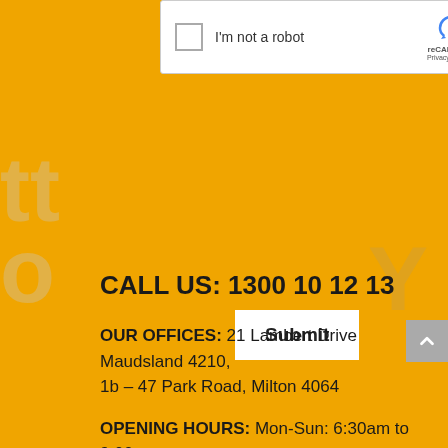[Figure (screenshot): reCAPTCHA widget with checkbox labeled I'm not a robot]
Submit
CALL US: 1300 10 12 13
OUR OFFICES: 21 Lambert Drive Maudsland 4210, 1b – 47 Park Road, Milton 4064
OPENING HOURS: Mon-Sun: 6:30am to 9:00pm
SERVICED AREAS: We service from the Gold Coast right through to the